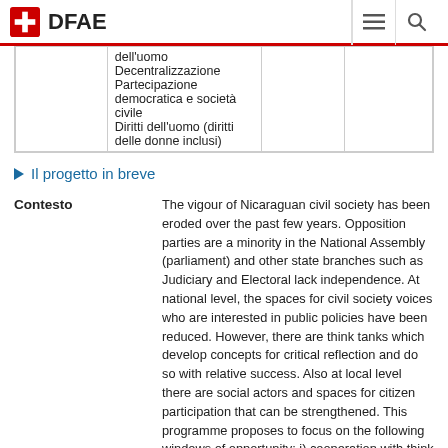DFAE
|  |  |  |  |
| --- | --- | --- | --- |
|  | dell'uomo
Decentralizzazione
Partecipazione democratica e società civile
Diritti dell'uomo (diritti delle donne inclusi) |  |  |
Il progetto in breve
The vigour of Nicaraguan civil society has been eroded over the past few years. Opposition parties are a minority in the National Assembly (parliament) and other state branches such as Judiciary and Electoral lack independence. At national level, the spaces for civil society voices who are interested in public policies have been reduced. However, there are think tanks which develop concepts for critical reflection and do so with relative success. Also at local level there are social actors and spaces for citizen participation that can be strengthened. This programme proposes to focus on the following windows of opportunity: i) cooperation with think tanks that enjoy legitimacy due to their high degree of thematic expertise; and ii)